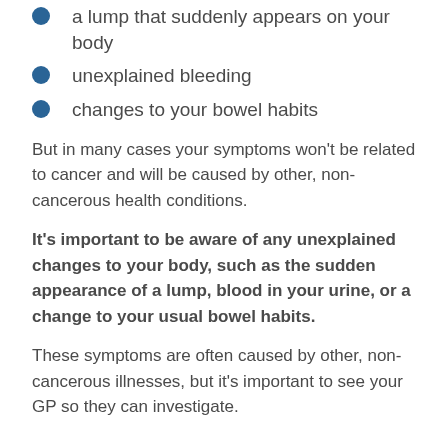a lump that suddenly appears on your body
unexplained bleeding
changes to your bowel habits
But in many cases your symptoms won't be related to cancer and will be caused by other, non-cancerous health conditions.
It's important to be aware of any unexplained changes to your body, such as the sudden appearance of a lump, blood in your urine, or a change to your usual bowel habits.
These symptoms are often caused by other, non-cancerous illnesses, but it's important to see your GP so they can investigate.